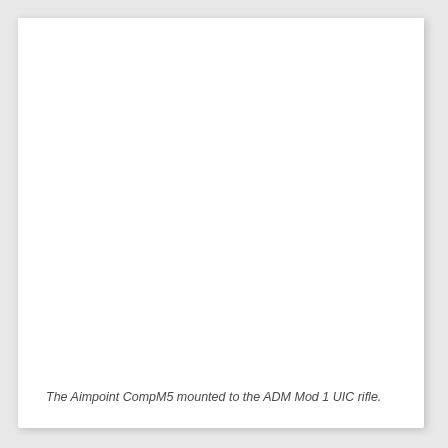[Figure (photo): Large white/blank image area showing the Aimpoint CompM5 mounted to the ADM Mod 1 UIC rifle (image content not visible in this rendering).]
The Aimpoint CompM5 mounted to the ADM Mod 1 UIC rifle.